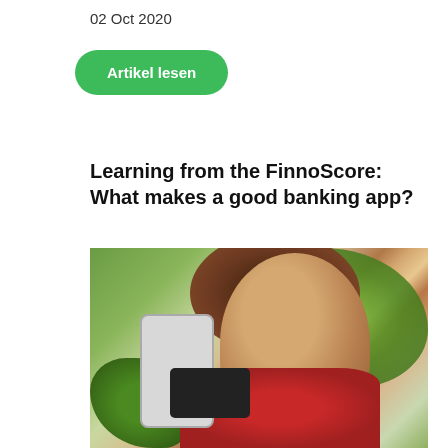02 Oct 2020
Artikel lesen
Learning from the FinnoScore: What makes a good banking app?
[Figure (photo): Woman with curly hair smiling while looking at a smartphone and holding a credit card, wearing a red floral shirt, with green plants in background]